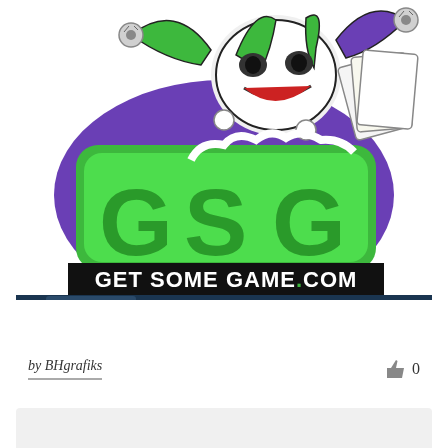[Figure (logo): Get Some Game logo featuring a jester/joker character in green and purple with 'GSG' letters and 'GET SOME GAME.COM' text below, along with a browser screenshot showing www.getsomegame.com]
by BHgrafiks
[Figure (screenshot): Bottom portion of another image, showing a light gray rectangle]